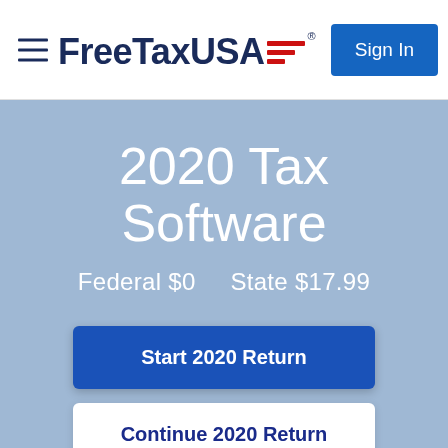[Figure (logo): FreeTaxUSA logo with hamburger menu on the left and Sign In button on the right]
2020 Tax Software
Federal $0    State $17.99
Start 2020 Return
Continue 2020 Return